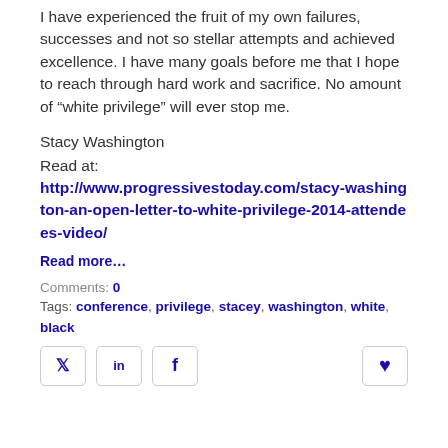I have experienced the fruit of my own failures, successes and not so stellar attempts and achieved excellence. I have many goals before me that I hope to reach through hard work and sacrifice. No amount of “white privilege” will ever stop me.
Stacy Washington
Read at:
http://www.progressivestoday.com/stacy-washington-an-open-letter-to-white-privilege-2014-attendees-video/
Read more…
Comments: 0
Tags: conference, privilege, stacey, washington, white, black